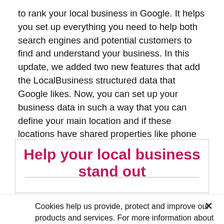to rank your local business in Google. It helps you set up everything you need to help both search engines and potential customers to find and understand your business. In this update, we added two new features that add the LocalBusiness structured data that Google likes. Now, you can set up your business data in such a way that you can define your main location and if these locations have shared properties like phone numbers.
Help your local business stand out
Cookies help us provide, protect and improve our products and services. For more information about our use of cookies, please refer to our Privacy policy.